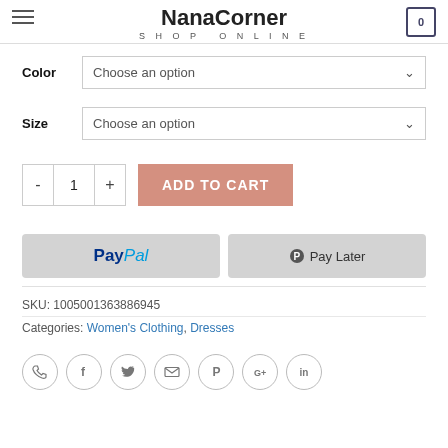NanaCorner SHOP ONLINE
Color  Choose an option
Size  Choose an option
- 1 +  ADD TO CART
[Figure (other): PayPal and Pay Later payment buttons]
SKU: 1005001363886945
Categories: Women's Clothing, Dresses
[Figure (other): Social media icons: phone, facebook, twitter, email, pinterest, google+, linkedin]